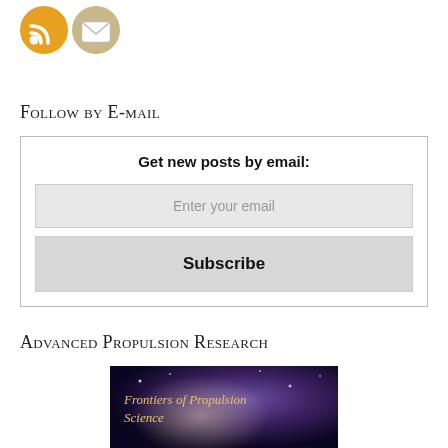[Figure (illustration): RSS feed icon (orange circle with RSS symbol) and Email/envelope icon (tan/beige circle with envelope symbol)]
Follow by E-mail
Get new posts by email:
Enter your email
Subscribe
Advanced Propulsion Research
[Figure (photo): Book cover image with text 'Frontiers of Propulsion Science' on a dark purple/space background]